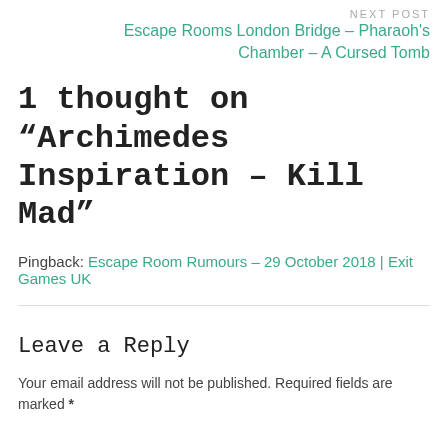NEXT POST
Escape Rooms London Bridge – Pharaoh's Chamber – A Cursed Tomb
1 thought on “Archimedes Inspiration – Kill Mad”
Pingback: Escape Room Rumours – 29 October 2018 | Exit Games UK
Leave a Reply
Your email address will not be published. Required fields are marked *